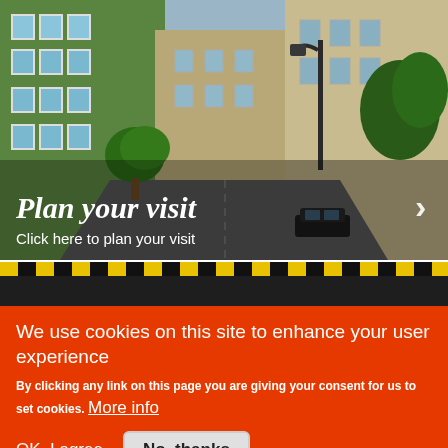[Figure (photo): Street scene photograph showing a narrow European street with a green building on the left, stone buildings on the right, a lamp post, trees, and a car. Overlay text reads 'Plan your visit' with subtitle 'Click here to plan your visit'.]
[Figure (photo): Partial view of a second image showing a dark scene with yellow tape or barrier at the top.]
We use cookies on this site to enhance your user experience
By clicking any link on this page you are giving your consent for us to set cookies. More info
OK, I agree
No, thanks